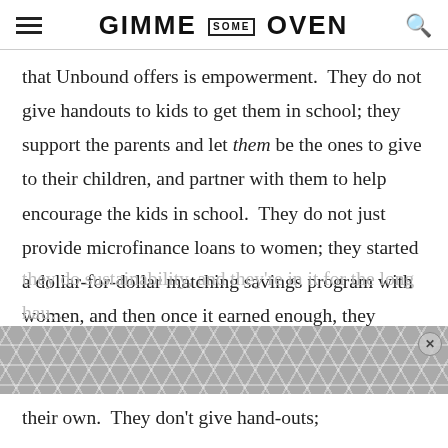GIMME SOME OVEN
that Unbound offers is empowerment.  They do not give handouts to kids to get them in school; they support the parents and let them be the ones to give to their children, and partner with them to help encourage the kids in school.  They do not just provide microfinance loans to women; they started a dollar-for-dollar matching savings program with women, and then once it earned enough, they pulled out and now those programs are being totally run and supported by those same women on their own.  They don’t give hand-outs; they do sustainability, and they’re in it for the long hau…